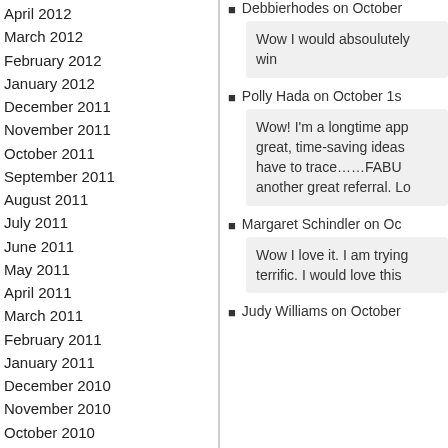April 2012
March 2012
February 2012
January 2012
December 2011
November 2011
October 2011
September 2011
August 2011
July 2011
June 2011
May 2011
April 2011
March 2011
February 2011
January 2011
December 2010
November 2010
October 2010
September 2010
August 2010
July 2010
Debbierhodes on October
Wow I would absoulutely win
Polly Hada on October 1s
Wow! I'm a longtime app great, time-saving ideas have to trace……FABU another great referral. Lo
Margaret Schindler on Oc
Wow I love it. I am trying terrific. I would love this
Judy Williams on October